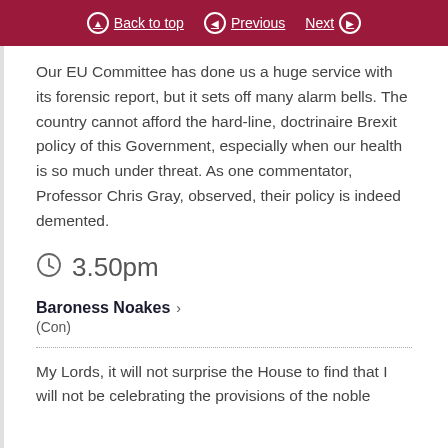Back to top  Previous  Next
Our EU Committee has done us a huge service with its forensic report, but it sets off many alarm bells. The country cannot afford the hard-line, doctrinaire Brexit policy of this Government, especially when our health is so much under threat. As one commentator, Professor Chris Gray, observed, their policy is indeed demented.
3.50pm
Baroness Noakes
(Con)
My Lords, it will not surprise the House to find that I will not be celebrating the provisions of the noble...